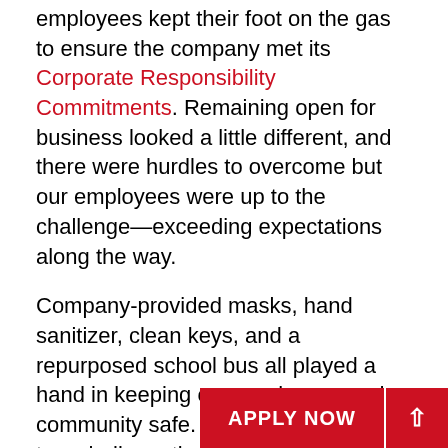employees kept their foot on the gas to ensure the company met its Corporate Responsibility Commitments. Remaining open for business looked a little different, and there were hurdles to overcome but our employees were up to the challenge—exceeding expectations along the way.
Company-provided masks, hand sanitizer, clean keys, and a repurposed school bus all played a hand in keeping our employees and community safe. In addition, regular town hall meetings, Microsoft Teams, and the TeamApp kept employees socially distanced and still informed.
In the wake of our country's protests over individual differences and injustices, Team[...] updated the company's mission [...] demanding the continued commitment to Diversity